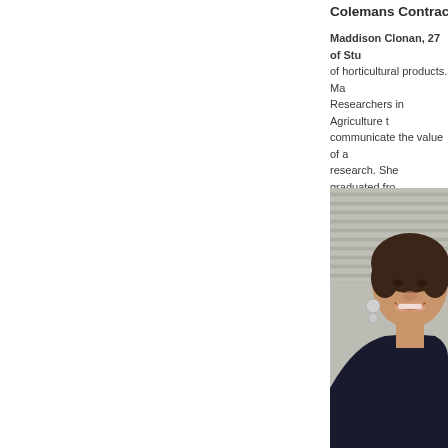Colemans Contracting...
Maddison Clonan, 27 of Stu... of horticultural products. Ma... Researchers in Agriculture t... communicate the value of a... research. She graduated fro... Award.
[Figure (photo): Portrait photo of Maddison Clonan, a smiling woman with dark hair pulled back, wearing earrings and a dark top, photographed against a corrugated metal background.]